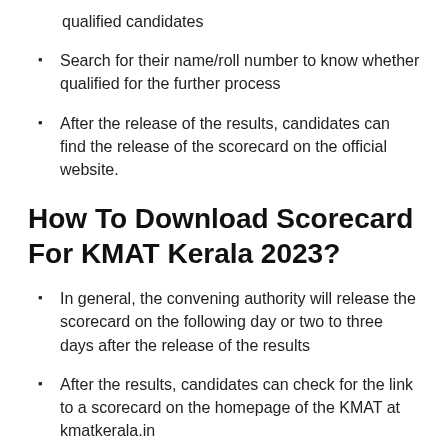qualified candidates
Search for their name/roll number to know whether qualified for the further process
After the release of the results, candidates can find the release of the scorecard on the official website.
How To Download Scorecard For KMAT Kerala 2023?
In general, the convening authority will release the scorecard on the following day or two to three days after the release of the results
After the results, candidates can check for the link to a scorecard on the homepage of the KMAT at kmatkerala.in
When clicking on the KMAT 2023 scorecard, it will